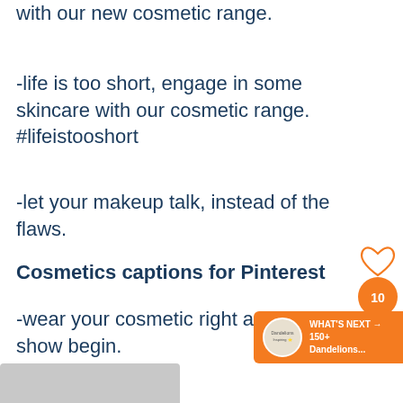with our new cosmetic range.
-life is too short, engage in some skincare with our cosmetic range. #lifeistooshort
-let your makeup talk, instead of the flaws.
Cosmetics captions for Pinterest
-wear your cosmetic right and let the show begin.
[Figure (other): Heart/like icon button, orange share badge with '10', and 'WHAT'S NEXT → 150+ Dandelions...' promotional overlay with circular logo]